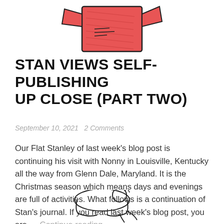[Figure (illustration): Partial view of a child's crayon drawing of a red figure (Flat Stanley) at the top of the page, cropped from above]
STAN VIEWS SELF-PUBLISHING UP CLOSE (PART TWO)
September 10, 2021   2 Comments
Our Flat Stanley of last week’s blog post is continuing his visit with Nonny in Louisville, Kentucky all the way from Glenn Dale, Maryland. It is the Christmas season which means days and evenings are full of activities. What follows is a continuation of Stan’s journal. If you read last week’s blog post, you are … Continue reading
[Figure (illustration): Partial view of another child's drawing at the bottom, showing outlines of animals or figures, cropped at the bottom edge]